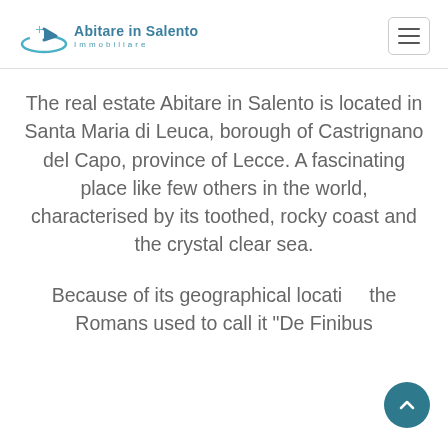Abitare in Salento Immobiliare
The real estate Abitare in Salento is located in Santa Maria di Leuca, borough of Castrignano del Capo, province of Lecce. A fascinating place like few others in the world, characterised by its toothed, rocky coast and the crystal clear sea.
Because of its geographical locati... the Romans used to call it “De Finibus